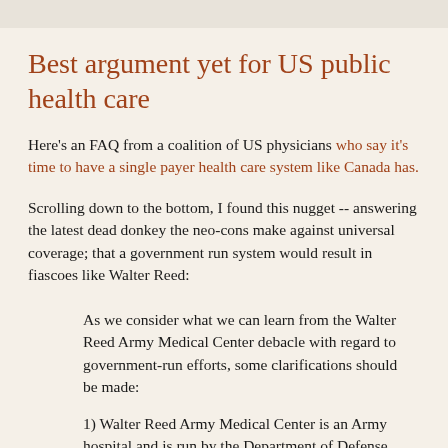Best argument yet for US public health care
Here's an FAQ from a coalition of US physicians who say it's time to have a single payer health care system like Canada has.
Scrolling down to the bottom, I found this nugget -- answering the latest dead donkey the neo-cons make against universal coverage; that a government run system would result in fiascoes like Walter Reed:
As we consider what we can learn from the Walter Reed Army Medical Center debacle with regard to government-run efforts, some clarifications should be made:
1) Walter Reed Army Medical Center is an Army hospital and is run by the Department of Defense. The VA hospitals are run by the Veterans Administration